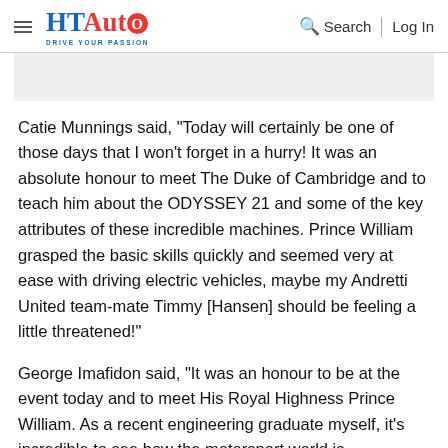HT Auto - Drive Your Passion | Search | Log In
Catie Munnings said, "Today will certainly be one of those days that I won't forget in a hurry! It was an absolute honour to meet The Duke of Cambridge and to teach him about the ODYSSEY 21 and some of the key attributes of these incredible machines. Prince William grasped the basic skills quickly and seemed very at ease with driving electric vehicles, maybe my Andretti United team-mate Timmy [Hansen] should be feeling a little threatened!"
George Imafidon said, "It was an honour to be at the event today and to meet His Royal Highness Prince William. As a recent engineering graduate myself, it's incredible to see how the motorsport world is responding to the climate crisis